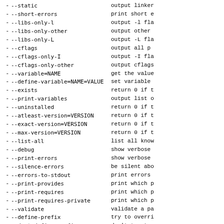- --static    output linker
- --short-errors    print short e
- --libs-only-l    output -l fla
- --libs-only-other    output other
- --libs-only-L    output -L fla
- --cflags    output all p
- --cflags-only-I    output -I fla
- --cflags-only-other    output cflags
- --variable=NAME    get the value
- --define-variable=NAME=VALUE    set variable
- --exists    return 0 if t
- --print-variables    output list o
- --uninstalled    return 0 if t
- --atleast-version=VERSION    return 0 if t
- --exact-version=VERSION    return 0 if t
- --max-version=VERSION    return 0 if t
- --list-all    list all kno
- --debug    show verbose
- --print-errors    show verbose
- --silence-errors    be silent abo
- --errors-to-stdout    print errors
- --print-provides    print which p
- --print-requires    print which p
- --print-requires-private    print which p
- --validate    validate a pa
- --define-prefix    try to overri
- --dont-define-prefix    don't try to
- --prefix-variable=PREFIX    set the name
-
-> compiled, conf-pkg-config,?